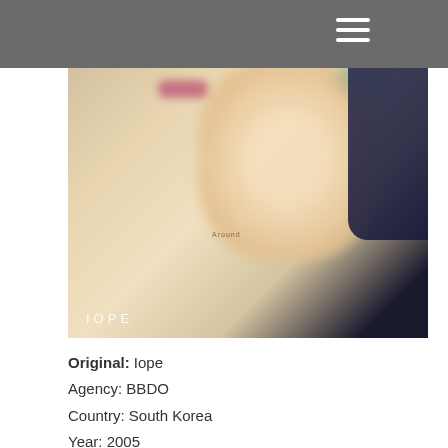[Figure (photo): Blurred/soft-focus advertisement photo showing a person's face and skin with acupuncture or cosmetic needles, with dark overlay at top containing a hamburger menu icon, and 'IOPE' logo text at the bottom left of the image]
Original: Iope
Agency: BBDO
Country: South Korea
Year: 2005
Source: the above example is featured